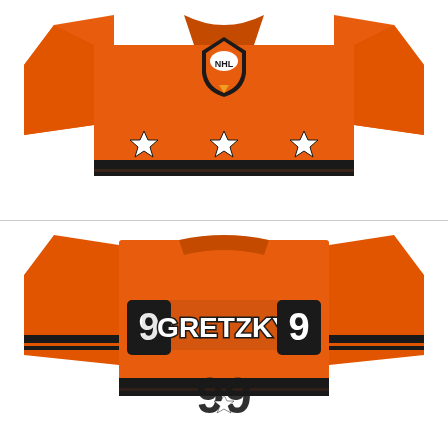[Figure (photo): Front view of an orange NHL All-Star hockey jersey with NHL shield logo on chest, three white stars on the lower body, and black stripes at the hem.]
[Figure (photo): Back view of the same orange NHL All-Star hockey jersey showing number 99 on both sides and the name GRETZKY across the back, with black stripes and stars at the bottom.]